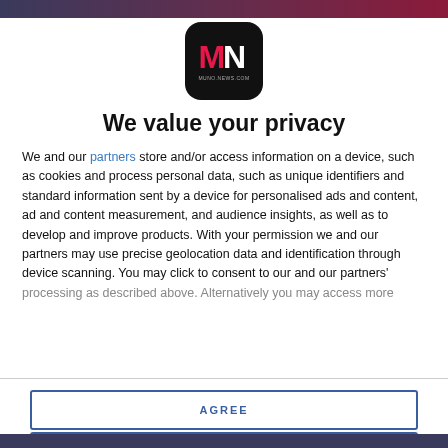[Figure (logo): MN logo — black rounded square with pink M and white N letters, with tagline 'muno.news.com' beneath]
We value your privacy
We and our partners store and/or access information on a device, such as cookies and process personal data, such as unique identifiers and standard information sent by a device for personalised ads and content, ad and content measurement, and audience insights, as well as to develop and improve products. With your permission we and our partners may use precise geolocation data and identification through device scanning. You may click to consent to our and our partners' processing as described above. Alternatively you may access more
AGREE
MORE OPTIONS